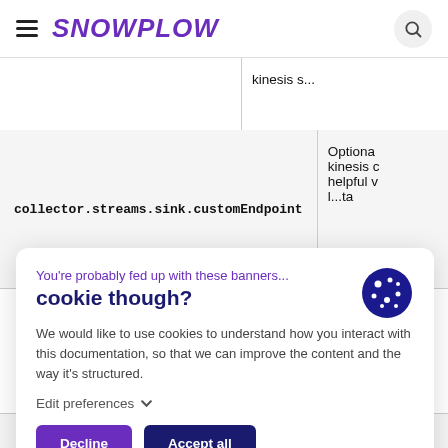SNOWPLOW
| Property | Description |
| --- | --- |
|  | kinesis s... |
| collector.streams.sink.customEndpoint | Optiona... kinesis c... helpful v... l...ta |
You're probably fed up with these banners...
cookie though?
We would like to use cookies to understand how you interact with this documentation, so that we can improve the content and the way it's structured.
Edit preferences
Decline
Accept all